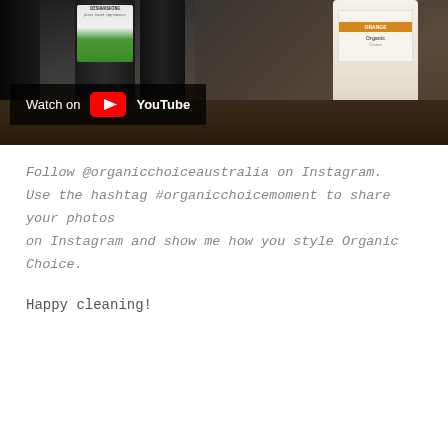[Figure (photo): Photo of dishwashing liquid bottles and a candle/jar on a dark table surface, with a YouTube 'Watch on YouTube' overlay at the bottom left.]
Follow @organicchoiceaustralia on Instagram. Use the hashtag #organicchoicemoment to share your photos on Instagram and show me how you style Organic Choice.
Happy cleaning!